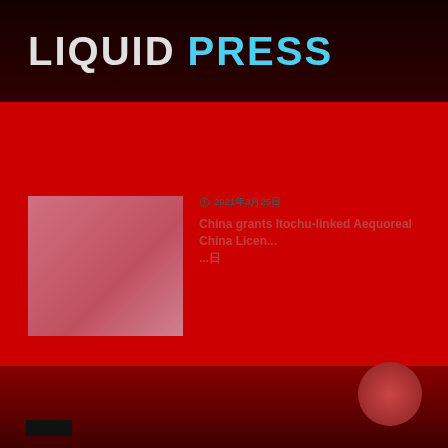LIQUID PRESS
2021年3月25日
China grants Itochu-linked Aequoreal China Licen...
[Figure (photo): Thumbnail image placeholder - pinkish-red colored block]
9年11月24日
China grants [...] not the Itochu Hatsumei Lice...nti Aequoreal China Licen... nth the Itochu Hatsumei Licen...
[Figure (photo): Thumbnail image placeholder - pinkish-red colored block]
検索
[Figure (other): Dark bottom section with red gradient and circular element]